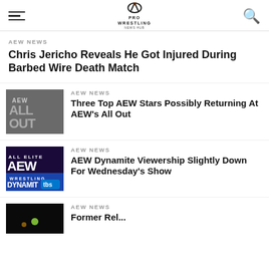Pro Wrestling News Hub
AEW NEWS
Chris Jericho Reveals He Got Injured During Barbed Wire Death Match
[Figure (photo): AEW All Out logo on stone background]
AEW NEWS
Three Top AEW Stars Possibly Returning At AEW's All Out
[Figure (photo): AEW Dynamite on TBS logo]
AEW NEWS
AEW Dynamite Viewership Slightly Down For Wednesday's Show
[Figure (photo): Dark arena with lights]
AEW NEWS
Former Rel...